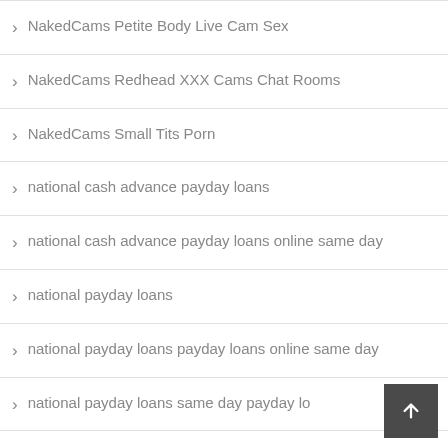NakedCams Petite Body Live Cam Sex
NakedCams Redhead XXX Cams Chat Rooms
NakedCams Small Tits Porn
national cash advance payday loans
national cash advance payday loans online same day
national payday loans
national payday loans payday loans online same day
national payday loans same day payday lo…